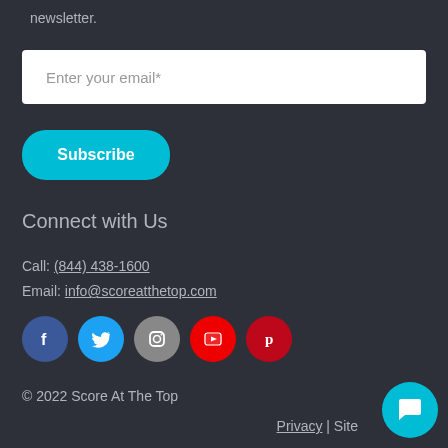newsletter.
Enter your email*
Subscribe
Connect with Us
Call: (844) 438-1600
Email: info@scoreatthetop.com
[Figure (other): Social media icons: Facebook, Twitter, Instagram, YouTube, Pinterest]
© 2022 Score At The Top
Privacy | Site